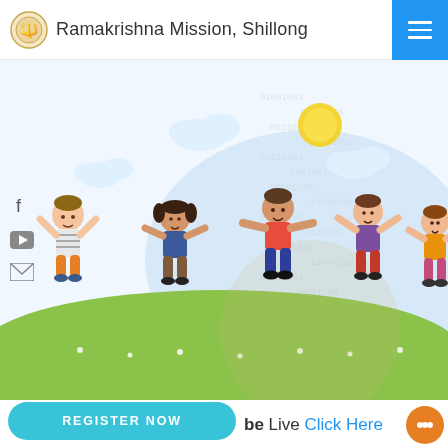Ramakrishna Mission, Shillong
[Figure (illustration): Colorful cartoon illustration of five happy children jumping and playing on a green hill with a blue sky background, clouds, and a sun. A semi-transparent circle watermark is overlaid in the center-right area. Faint binary code watermark on the right side.]
be Live Click Here
REGISTER NOW